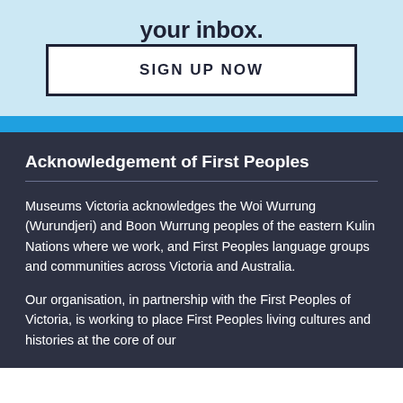your inbox.
SIGN UP NOW
Acknowledgement of First Peoples
Museums Victoria acknowledges the Woi Wurrung (Wurundjeri) and Boon Wurrung peoples of the eastern Kulin Nations where we work, and First Peoples language groups and communities across Victoria and Australia.
Our organisation, in partnership with the First Peoples of Victoria, is working to place First Peoples living cultures and histories at the core of our